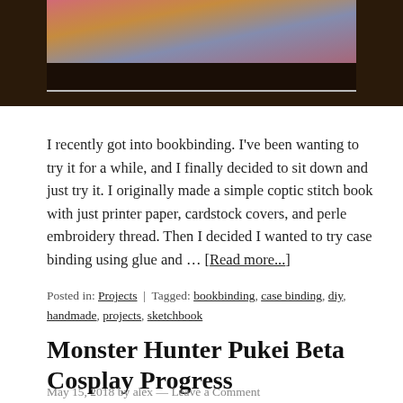[Figure (photo): Partial photo showing a bookbinding project on a dark wooden surface, with colorful book cover visible at top]
I recently got into bookbinding. I've been wanting to try it for a while, and I finally decided to sit down and just try it. I originally made a simple coptic stitch book with just printer paper, cardstock covers, and perle embroidery thread. Then I decided I wanted to try case binding using glue and … [Read more...]
Posted in: Projects | Tagged: bookbinding, case binding, diy, handmade, projects, sketchbook
Monster Hunter Pukei Beta Cosplay Progress
May 15, 2018 by alex — Leave a Comment